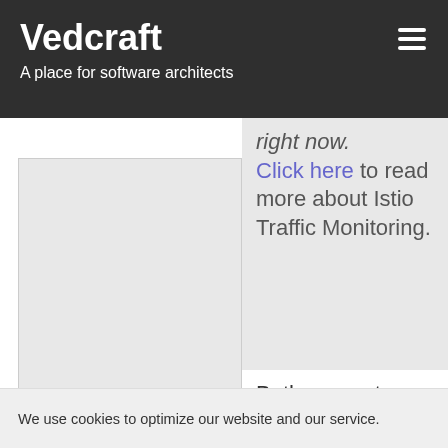Vedcraft
A place for software architects
[Figure (screenshot): Partial screenshot showing a grey placeholder image area on the left]
right now. Click here to read more about Istio Traffic Monitoring.
Both support mTLS. However, Isti
We use cookies to optimize our website and our service.
Accept
Cookie Policy   Privacy Policy